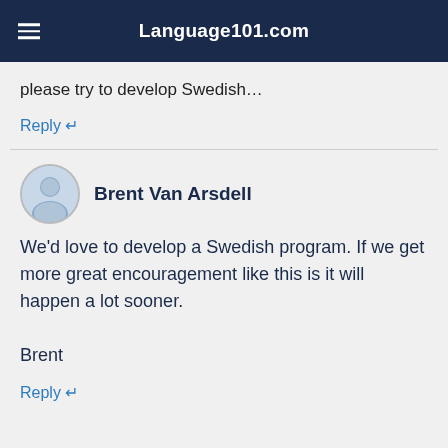Language101.com
please try to develop Swedish…
Reply ↩
Brent Van Arsdell
We'd love to develop a Swedish program. If we get more great encouragement like this is it will happen a lot sooner.

Brent
Reply ↩